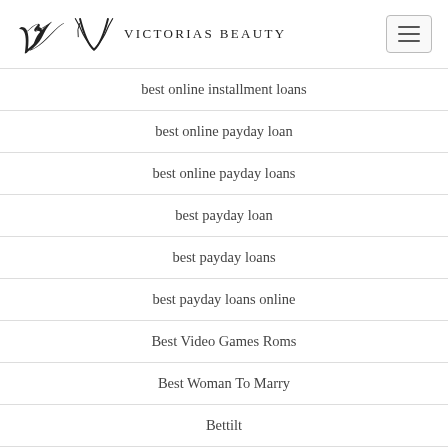Victorias Beauty
best online installment loans
best online payday loan
best online payday loans
best payday loan
best payday loans
best payday loans online
Best Video Games Roms
Best Woman To Marry
Bettilt